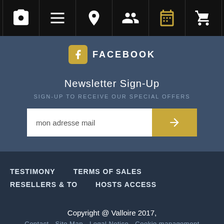[Figure (screenshot): Navigation bar with icons: camera, list, location pin, group/people, calendar (gold), shopping cart]
FACEBOOK
Newsletter Sign-Up
SIGN-UP TO RECEIVE OUR SPECIAL OFFERS
mon adresse mail
TESTIMONY
TERMS OF SALES
RESELLERS & TO
HOSTS ACCESS
Copyright @ Valloire 2017,
Contact - Site Map - Legal Notice - Cookie management